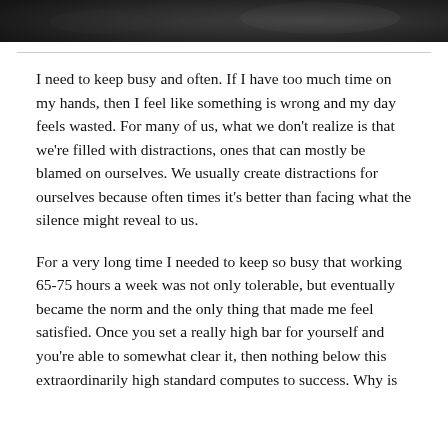[Figure (photo): Dark photographic image strip at the top of the page, appearing to show a silhouetted figure or landscape in dark tones]
I need to keep busy and often. If I have too much time on my hands, then I feel like something is wrong and my day feels wasted. For many of us, what we don't realize is that we're filled with distractions, ones that can mostly be blamed on ourselves. We usually create distractions for ourselves because often times it's better than facing what the silence might reveal to us.
For a very long time I needed to keep so busy that working 65-75 hours a week was not only tolerable, but eventually became the norm and the only thing that made me feel satisfied. Once you set a really high bar for yourself and you're able to somewhat clear it, then nothing below this extraordinarily high standard computes to success. Why is